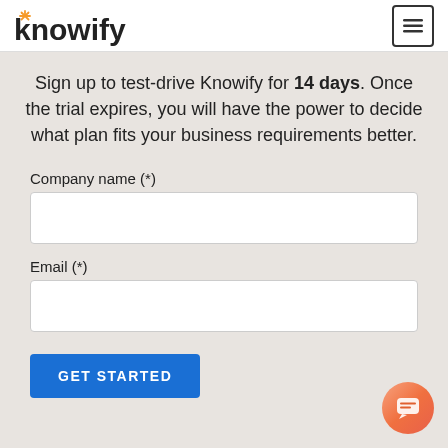knowify [logo] [menu button]
Sign up to test-drive Knowify for 14 days. Once the trial expires, you will have the power to decide what plan fits your business requirements better.
Company name (*)
Email (*)
GET STARTED